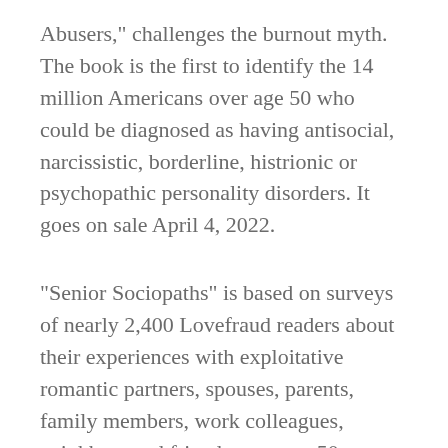Abusers," challenges the burnout myth. The book is the first to identify the 14 million Americans over age 50 who could be diagnosed as having antisocial, narcissistic, borderline, histrionic or psychopathic personality disorders. It goes on sale April 4, 2022.
"Senior Sociopaths" is based on surveys of nearly 2,400 Lovefraud readers about their experiences with exploitative romantic partners, spouses, parents, family members, work colleagues, neighbors and friends over age 50. Survey respondents told horror stories of deception, manipulation, abuse,